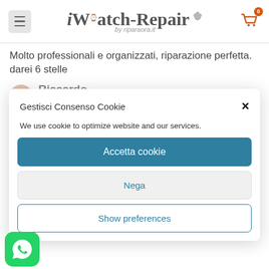[Figure (screenshot): iWatch-Repair by riparaora.it website header with hamburger menu, logo, and shopping cart icon with badge showing 0]
Molto professionali e organizzati, riparazione perfetta. darei 6 stelle
Riccardo Padula
Gestisci Consenso Cookie
We use cookie to optimize website and our services.
Accetta cookie
Nega
Show preferences